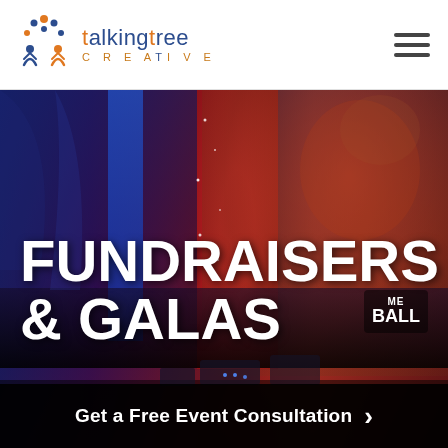[Figure (logo): Talking Tree Creative logo with stylized tree/people icon in blue and orange, company name 'talkingtree' in blue with orange 't', subtitle 'CREATIVE' in orange spaced letters]
[Figure (photo): Event gala/fundraiser photo showing blue-lit architectural columns on left, large red cylindrical column/curtain in center, floral decorations and a figure on right side, stage equipment visible at bottom, 'BALL' sign visible in lower right]
FUNDRAISERS & GALAS
Get a Free Event Consultation >